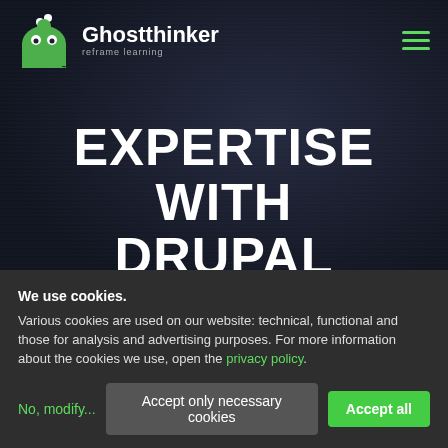[Figure (logo): Ghostthinker logo with green ghost icon and text 'Ghostthinker reframe learning']
EXPERTISE WITH DRUPAL
We use cookies. Various cookies are used on our website: technical, functional and those for analysis and advertising purposes. For more information about the cookies we use, open the privacy policy.
No, modify... | Accept only necessary cookies | Accept all